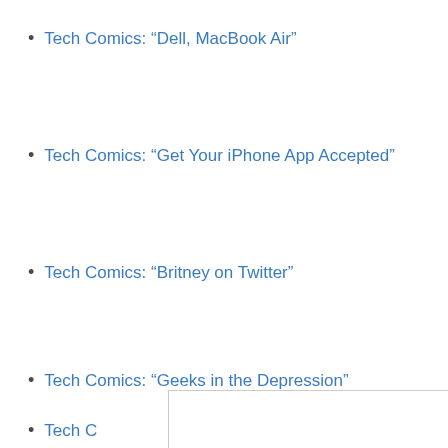Tech Comics: “Dell, MacBook Air”
Tech Comics: “Get Your iPhone App Accepted”
Tech Comics: “Britney on Twitter”
Tech Comics: “Geeks in the Depression”
Tech C…